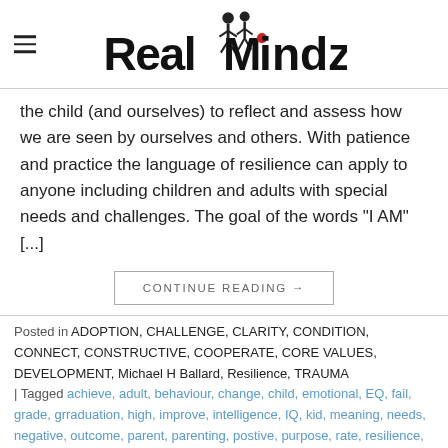RealMindz
the child (and ourselves) to reflect and assess how we are seen by ourselves and others. With patience and practice the language of resilience can apply to anyone including children and adults with special needs and challenges. The goal of the words "I AM" [...]
CONTINUE READING →
Posted in ADOPTION, CHALLENGE, CLARITY, CONDITION, CONNECT, CONSTRUCTIVE, COOPERATE, CORE VALUES, DEVELOPMENT, Michael H Ballard, Resilience, TRAUMA | Tagged achieve, adult, behaviour, change, child, emotional, EQ, fail, grade, grraduation, high, improve, intelligence, IQ, kid, meaning, needs, negative, outcome, parent, parenting, postive, purpose, rate, resilience, school, speech, special, EQ, student, words, youth